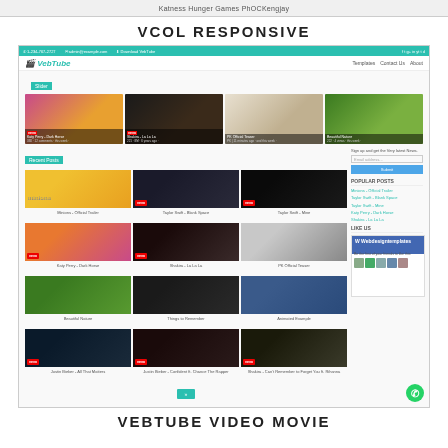Katness Hunger Games PhOCKengjay
VCOL RESPONSIVE
[Figure (screenshot): VebTube website screenshot showing a video/movie blog template with teal header nav, logo, slider with 4 video thumbnails, recent posts grid with 12 video thumbnails (Minions, Taylor Swift, Katy Perry, Shakira, PK, nature, etc.), sidebar with subscribe form, popular posts list, and Facebook like box. WhatsApp icon bottom right.]
VEBTUBE VIDEO MOVIE